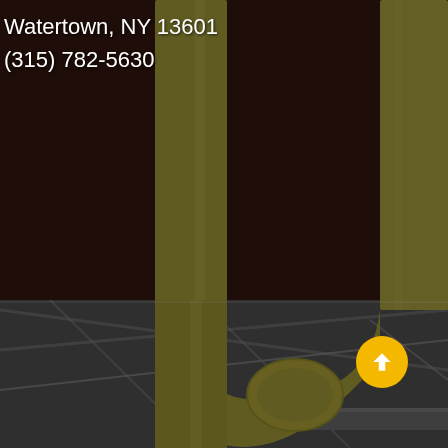[Figure (photo): Industrial yellow pipes/ductwork in a facility, upper portion shows large U-shaped yellow pipe against dark reddish-brown background, lower portion shows yellow vertical pipes with steel structural framework and piping below, dark overlay on entire image.]
Watertown, NY 13601
(315) 782-5630